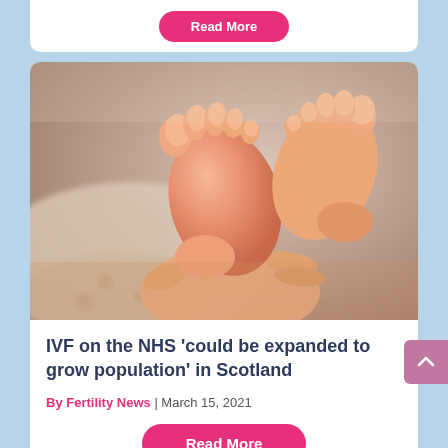[Figure (other): Partial previous article card with a 'Read More' pink button visible at top]
[Figure (photo): Close-up photo of newborn baby feet being held by adult hands, soft focus background with white textured blanket]
IVF on the NHS ‘could be expanded to grow population’ in Scotland
By Fertility News | March 15, 2021
Read More